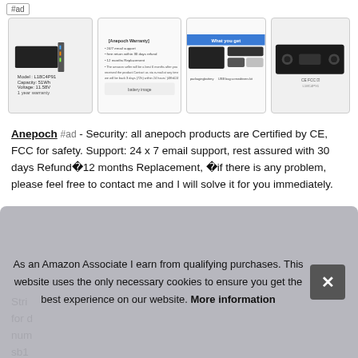[Figure (photo): Four product thumbnail images of laptop batteries showing product details, warranty info, what you get, and product certifications]
Anepoch #ad - Security: all anepoch products are Certified by CE, FCC for safety. Support: 24 x 7 email support, rest assured with 30 days Refund�12 months Replacement, �if there is any problem, please feel free to contact me and I will solve it for you immediately.
Stri... for e... num... sb1... 5b1...
As an Amazon Associate I earn from qualifying purchases. This website uses the only necessary cookies to ensure you get the best experience on our website. More information